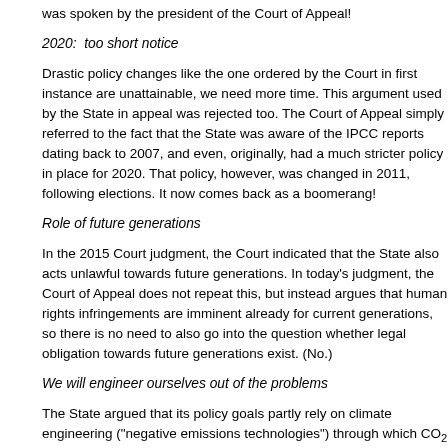was spoken by the president of the Court of Appeal!
2020:  too short notice
Drastic policy changes like the one ordered by the Court in first instance are unattainable, we need more time. This argument used by the State in appeal was rejected too. The Court of Appeal simply referred to the fact that the State was aware of the IPCC reports dating back to 2007, and even, originally, had a much stricter policy in place for 2020. That policy, however, was changed in 2011, following elections. It now comes back as a boomerang!
Role of future generations
In the 2015 Court judgment, the Court indicated that the State also acts unlawful towards future generations. In today's judgment, the Court of Appeal does not repeat this, but instead argues that human rights infringements are imminent already for current generations, so there is no need to also go into the question whether legal obligation towards future generations exist. (No.)
We will engineer ourselves out of the problems
The State argued that its policy goals partly rely on climate engineering ("negative emissions technologies") through which CO₂ can later be removed from the atmosphere. The Court, however, is not willing to take these future technologies into account: “the option to remove CO₂ from the atmosphere by certain technologies in the future is highly uncertain [..] (and) the climat…